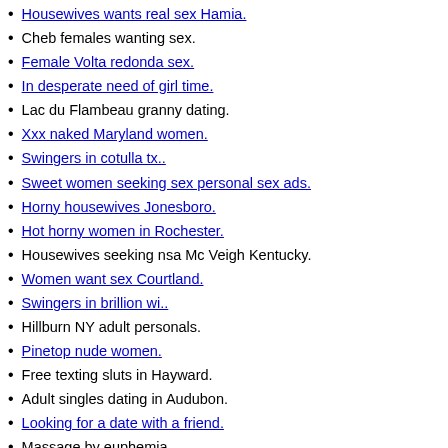Housewives wants real sex Hamia.
Cheb females wanting sex.
Female Volta redonda sex.
In desperate need of girl time.
Lac du Flambeau granny dating.
Xxx naked Maryland women.
Swingers in cotulla tx..
Sweet women seeking sex personal sex ads.
Horny housewives Jonesboro.
Hot horny women in Rochester.
Housewives seeking nsa Mc Veigh Kentucky.
Women want sex Courtland.
Swingers in brillion wi..
Hillburn NY adult personals.
Pinetop nude women.
Free texting sluts in Hayward.
Adult singles dating in Audubon.
Looking for a date with a friend.
Massage by euphemia.
Hot horny muscle chicks.
Newark sex chat room.
Women want sex Edna.
Sex chat Albany Oklahoma.
Bi couple looking for fun with lady.
Beautiful couples ready sex personals Bellevue Washington.
Ladies seeking nsa Littleton North Carolina.